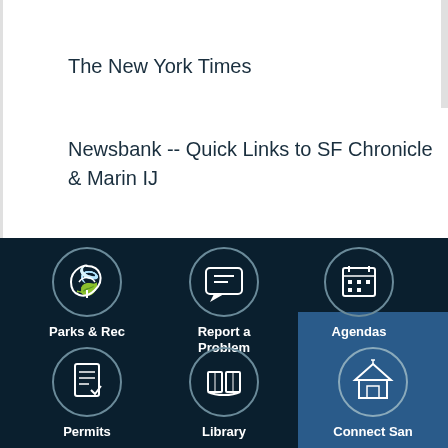The New York Times
Newsbank -- Quick Links to SF Chronicle & Marin IJ
[Figure (infographic): Dark navy footer navigation with 6 icon buttons: Parks & Rec (leaf icon), Report a Problem (speech bubble icon), Agendas (calendar icon), Permits (document icon), Library (open book icon), Connect San (building/institution icon, highlighted in blue)]